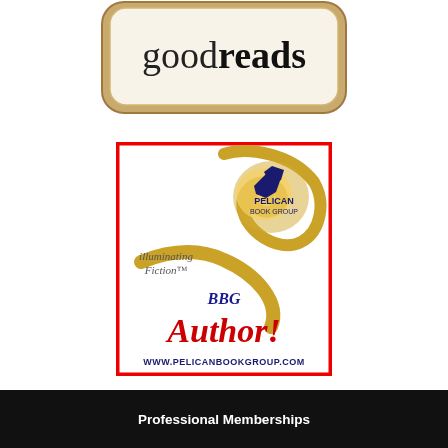[Figure (logo): Goodreads logo — rounded rectangle book-shaped badge with 'goodreads' text in black serif font on cream/white background with warm tan border]
[Figure (logo): Pelican Book Group author badge: red-bordered white square with gold ribbon/heart design, dark navy pelican bird icon, 'illuminating Fiction™' text, 'PELICAN BOOK GROUP' branding, 'PBG Author!' in red script with 'BBG' in blue above, and 'WWW.PELICANBOOKGROUP.COM' at bottom in navy]
Professional Memberships